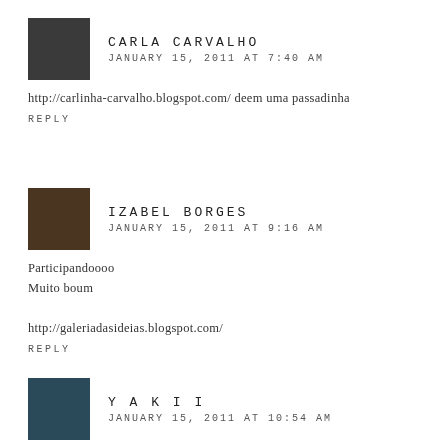CARLA CARVALHO
JANUARY 15, 2011 AT 7:40 AM
http://carlinha-carvalho.blogspot.com/ deem uma passadinha
REPLY
IZABEL BORGES
JANUARY 15, 2011 AT 9:16 AM
Participandoooo
Muito boum

http://galeriadasideias.blogspot.com/
REPLY
YAKII
JANUARY 15, 2011 AT 10:54 AM